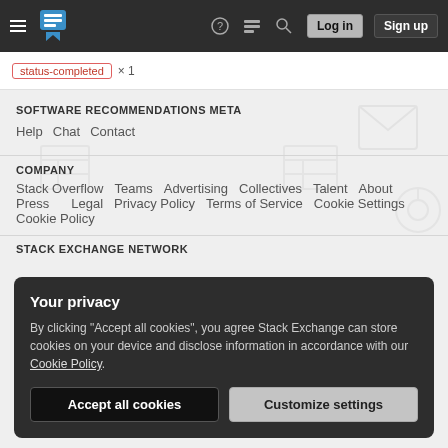Stack Exchange navigation bar with hamburger menu, logo, help, inbox, search, Log in, Sign up buttons
status-completed × 1
SOFTWARE RECOMMENDATIONS META
Help  Chat  Contact
COMPANY
Stack Overflow  Teams  Advertising  Collectives  Talent  About  Press  Legal  Privacy Policy  Terms of Service  Cookie Settings  Cookie Policy
STACK EXCHANGE NETWORK
Your privacy
By clicking "Accept all cookies", you agree Stack Exchange can store cookies on your device and disclose information in accordance with our Cookie Policy.
Accept all cookies  Customize settings